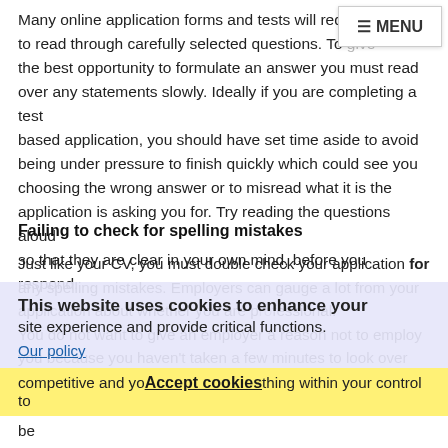Many online application forms and tests will require you to read through carefully selected questions. To give the best opportunity to formulate an answer you must read over any statements slowly. Ideally if you are completing a test based application, you should have set time aside to avoid being under pressure to finish quickly which could see you choosing the wrong answer or to misread what it is the application is asking you for. Try reading the questions aloud so that they are clear in your own mind, before you respond.
Failing to check for spelling mistakes
Just like your CV, you must double check your application for any spelling mistakes. Employers can gauge a lot from your application about whether you are professional. You do not want to give an employer a reason not to employ you because you haven't taken a few minutes to look over your application. Remember, the jobs market is extra competitive and you must do everything within your control to stand out in a crowd. Online spell checkers can sometimes be unreliable, so if you are unsure of how a word is spelt remember to consult a dictionary. Sometimes it can be hard to
This website uses cookies to enhance your site experience and provide critical functions.
Our policy
Accept cookies